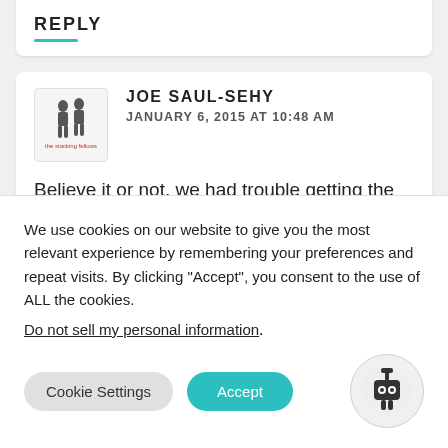REPLY
JOE SAUL-SEHY
JANUARY 6, 2015 AT 10:48 AM
Believe it or not, we had trouble getting the family to play Dixit this year even though in the past they've always enjoyed it. We played it (four of us) and had a great
We use cookies on our website to give you the most relevant experience by remembering your preferences and repeat visits. By clicking “Accept”, you consent to the use of ALL the cookies.
Do not sell my personal information.
Cookie Settings
Accept